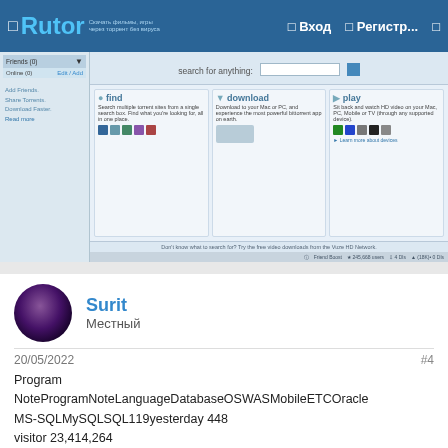Rutor  Вход  Регистр...
[Figure (screenshot): Screenshot of a torrent/media search website showing a search bar with 'search for anything', and three feature columns: 'find', 'download', 'play' with icons and descriptions. Bottom status bar visible.]
Surit
Местный
20/05/2022
#4
Program NoteProgramNoteLanguageDatabaseOSWASMobileETCOracle MS-SQLMySQLSQL119yesterday 448
visitor 23,414,264